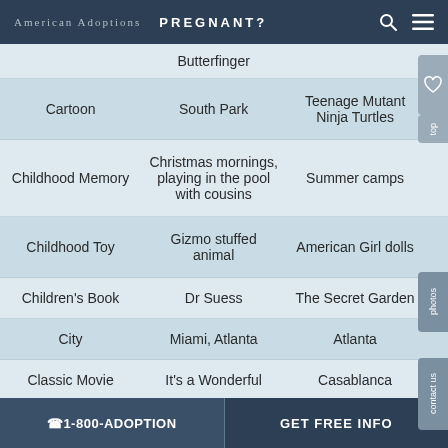American Adoptions  PREGNANT?
| Category | His Favorite | Her Favorite |
| --- | --- | --- |
|  | Butterfinger |  |
| Cartoon | South Park | Teenage Mutant Ninja Turtles |
| Childhood Memory | Christmas mornings, playing in the pool with cousins | Summer camps |
| Childhood Toy | Gizmo stuffed animal | American Girl dolls |
| Children's Book | Dr Suess | The Secret Garden |
| City | Miami, Atlanta | Atlanta |
| Classic Movie | It's a Wonderful | Casablanca |
☎ 1-800-ADOPTION    GET FREE INFO